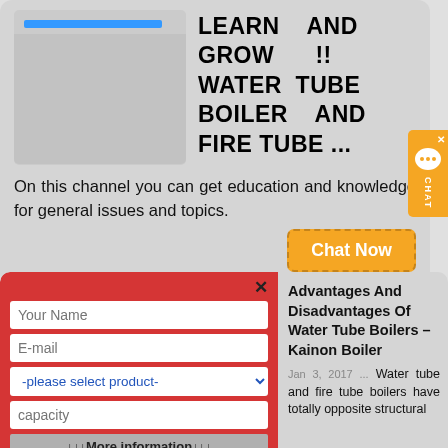[Figure (screenshot): Thumbnail image with blue progress bar at top and gray content area below]
LEARN AND GROW !! WATER TUBE BOILER AND FIRE TUBE ...
On this channel you can get education and knowledge for general issues and topics.
Chat Now
[Figure (screenshot): Orange CHAT widget on right edge with X button, speech bubble with dots, and CHAT label]
[Figure (screenshot): Red popup form overlay with fields: Your Name, E-mail, -please select product- dropdown, capacity, More information button, and Submit]
Advantages And Disadvantages Of Water Tube Boilers – Kainon Boiler
Jan 3, 2017 ... Water tube and fire tube boilers have totally opposite structural